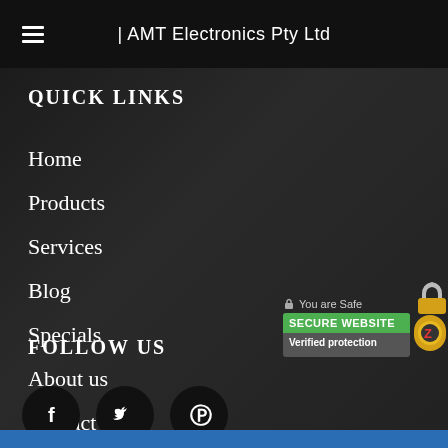| AMT Electronics Pty Ltd
QUICK LINKS
Home
Products
Services
Blog
Specials
About us
Contact us
FOLLOW US
[Figure (infographic): Three social media icon circles: Facebook (f), Twitter (bird), Pinterest (P)]
[Figure (infographic): Secure Website badge with lock icon, 'You are Safe', 'SECURE WEBSITE', 'Verified protection' text and Zonealarm logo]